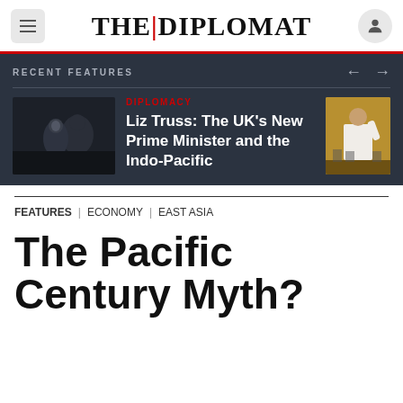THE|DIPLOMAT
RECENT FEATURES
[Figure (photo): Dark photo of a woman (Liz Truss) at a formal event]
DIPLOMACY
Liz Truss: The UK's New Prime Minister and the Indo-Pacific
[Figure (photo): Photo of a man in white shirt gesturing, golden/yellow background]
FEATURES | ECONOMY | EAST ASIA
The Pacific Century Myth?